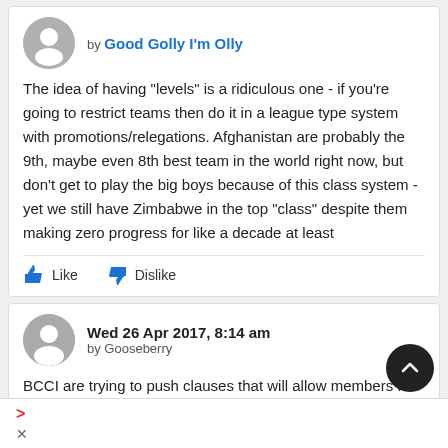by Good Golly I'm Olly
The idea of having "levels" is a ridiculous one - if you're going to restrict teams then do it in a league type system with promotions/relegations. Afghanistan are probably the 9th, maybe even 8th best team in the world right now, but don't get to play the big boys because of this class system - yet we still have Zimbabwe in the top "class" despite them making zero progress for like a decade at least
Wed 26 Apr 2017, 8:14 am by Gooseberry
BCCI are trying to push clauses that will allow members full status to be revoked, Bangladesh understandably are unha with this ... but Zimbabwe provide a good counter argument for